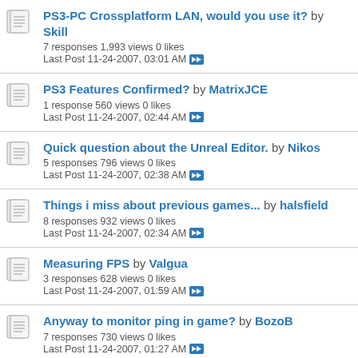PS3-PC Crossplatform LAN, would you use it? by Skill
7 responses 1,993 views 0 likes
Last Post 11-24-2007, 03:01 AM
PS3 Features Confirmed? by MatrixJCE
1 response 560 views 0 likes
Last Post 11-24-2007, 02:44 AM
Quick question about the Unreal Editor. by Nikos
5 responses 796 views 0 likes
Last Post 11-24-2007, 02:38 AM
Things i miss about previous games... by halsfield
8 responses 932 views 0 likes
Last Post 11-24-2007, 02:34 AM
Measuring FPS by Valgua
3 responses 628 views 0 likes
Last Post 11-24-2007, 01:59 AM
Anyway to monitor ping in game? by BozoB
7 responses 730 views 0 likes
Last Post 11-24-2007, 01:27 AM
I can't wait until poeple learn how to effectively use